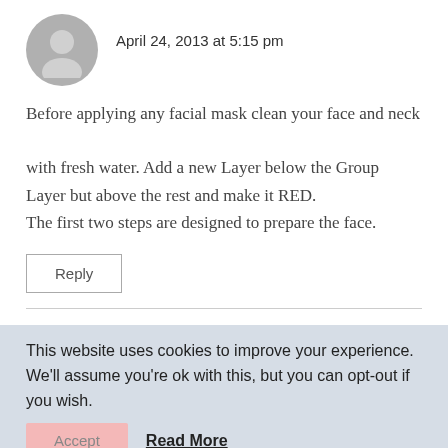[Figure (illustration): Gray circular avatar placeholder with a generic person silhouette icon]
April 24, 2013 at 5:15 pm
Before applying any facial mask clean your face and neck with fresh water. Add a new Layer below the Group Layer but above the rest and make it RED. The first two steps are designed to prepare the face.
Reply
This website uses cookies to improve your experience. We'll assume you're ok with this, but you can opt-out if you wish.
Accept
Read More